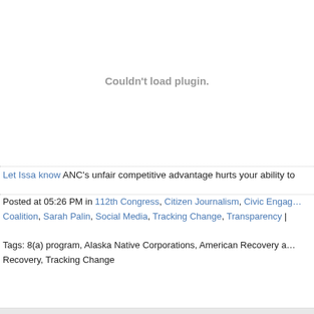[Figure (other): Plugin placeholder area showing 'Couldn't load plugin.' error message in gray text]
Let Issa know ANC's unfair competitive advantage hurts your ability to
Posted at 05:26 PM in 112th Congress, Citizen Journalism, Civic Engagement Coalition, Sarah Palin, Social Media, Tracking Change, Transparency |
Tags: 8(a) program, Alaska Native Corporations, American Recovery and Recovery, Tracking Change